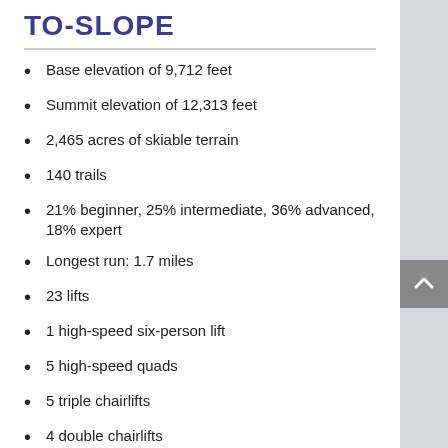TO-SLOPE
Base elevation of 9,712 feet
Summit elevation of 12,313 feet
2,465 acres of skiable terrain
140 trails
21% beginner, 25% intermediate, 36% advanced, 18% expert
Longest run: 1.7 miles
23 lifts
1 high-speed six-person lift
5 high-speed quads
5 triple chairlifts
4 double chairlifts
3 surface lifts